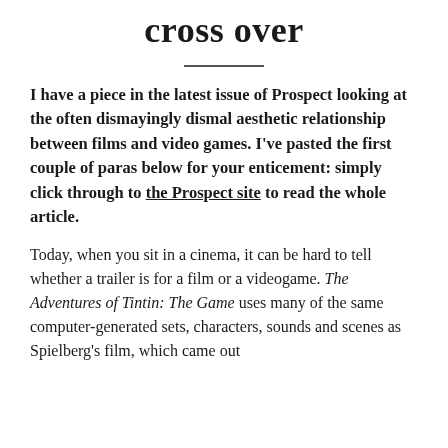cross over
I have a piece in the latest issue of Prospect looking at the often dismayingly dismal aesthetic relationship between films and video games. I've pasted the first couple of paras below for your enticement: simply click through to the Prospect site to read the whole article.
Today, when you sit in a cinema, it can be hard to tell whether a trailer is for a film or a videogame. The Adventures of Tintin: The Game uses many of the same computer-generated sets, characters, sounds and scenes as Spielberg's film, which came out